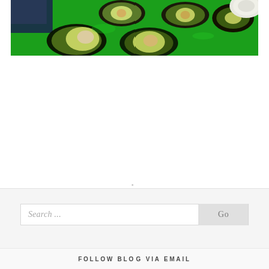[Figure (photo): Halved avocados arranged on a bright green surface, viewed from above. Multiple avocado halves with pits removed are visible, along with what appears to be other vegetables in the background.]
Search ...
Go
FOLLOW BLOG VIA EMAIL